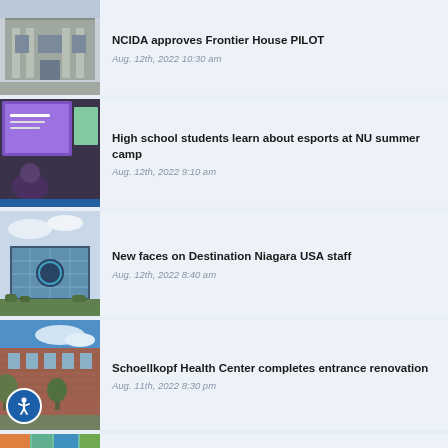[Figure (photo): Exterior of a stone building]
NCIDA approves Frontier House PILOT
Aug. 12th, 2022 10:30 am
[Figure (photo): High school students at esports camp with screens visible]
High school students learn about esports at NU summer camp
Aug. 12th, 2022 9:10 am
[Figure (photo): Exterior of Destination Niagara USA building]
New faces on Destination Niagara USA staff
Aug. 12th, 2022 8:40 am
[Figure (photo): Exterior of Schoellkopf Health Center with trees]
Schoellkopf Health Center completes entrance renovation
Aug. 11th, 2022 8:30 pm
[Figure (photo): Partial thumbnail of another news story]